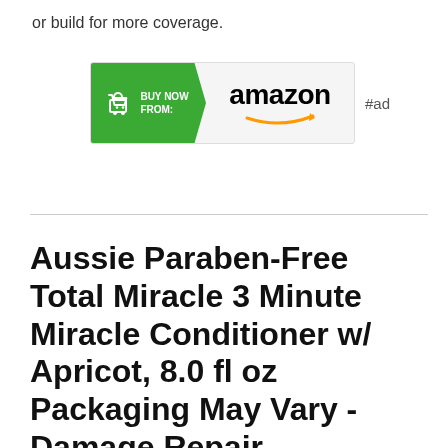or build for more coverage.
[Figure (other): Amazon 'Buy Now From' affiliate ad badge with green arrow shape containing shopping cart icon and 'BUY NOW FROM:' text, next to Amazon logo with orange smile arrow, followed by '#ad' label]
Aussie Paraben-Free Total Miracle 3 Minute Miracle Conditioner w/ Apricot, 8.0 fl oz Packaging May Vary - Damage Repair